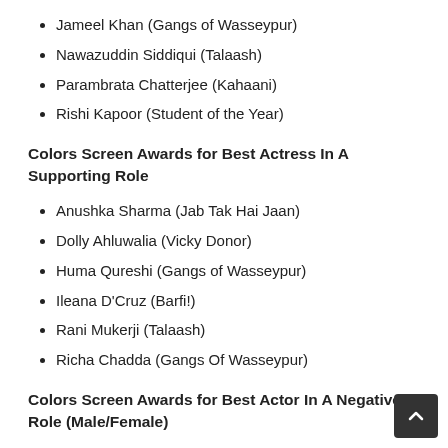Jameel Khan (Gangs of Wasseypur)
Nawazuddin Siddiqui (Talaash)
Parambrata Chatterjee (Kahaani)
Rishi Kapoor (Student of the Year)
Colors Screen Awards for Best Actress In A Supporting Role
Anushka Sharma (Jab Tak Hai Jaan)
Dolly Ahluwalia (Vicky Donor)
Huma Qureshi (Gangs of Wasseypur)
Ileana D'Cruz (Barfi!)
Rani Mukerji (Talaash)
Richa Chadda (Gangs Of Wasseypur)
Colors Screen Awards for Best Actor In A Negative Role (Male/Female)
Bipasha Basu (Raaz 3)
Deepak Dobriyal (Dabangg 2)